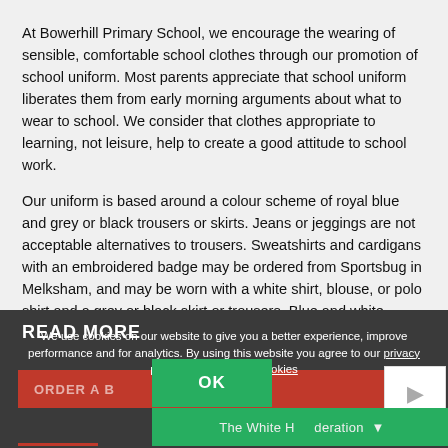At Bowerhill Primary School, we encourage the wearing of sensible, comfortable school clothes through our promotion of school uniform. Most parents appreciate that school uniform liberates them from early morning arguments about what to wear to school. We consider that clothes appropriate to learning, not leisure, help to create a good attitude to school work.
Our uniform is based around a colour scheme of royal blue and grey or black trousers or skirts. Jeans or jeggings are not acceptable alternatives to trousers. Sweatshirts and cardigans with an embroidered badge may be ordered from Sportsbug in Melksham, and may be worn with a white shirt, blouse, or polo shirt and a grey or black skirt or trousers. Blue and white striped or check dresses can be worn in the summer...
We use cookies on our website to give you a better experience, improve performance and for analytics. By using this website you agree to our privacy policy and the use of cookies
READ MORE
ORDER A B...
OK
The White H... deration